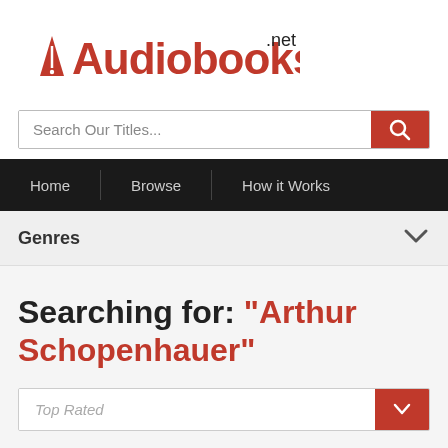[Figure (logo): Audiobooks.net logo with red cone/triangle icon and red 'Audiobooks' text with '.net' in black]
[Figure (screenshot): Search bar with placeholder text 'Search Our Titles...' and red search button with magnifying glass icon]
Home | Browse | How it Works
Genres
Searching for: "Arthur Schopenhauer"
[Figure (screenshot): Sort dropdown showing 'Top Rated' with red chevron button]
[Figure (photo): Partial book cover thumbnail at bottom of page]